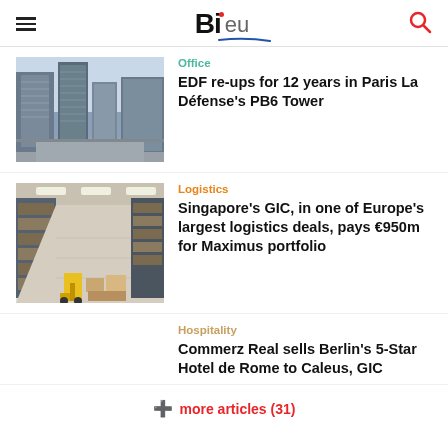BI.eu
[Figure (photo): Modern office buildings / skyscrapers at La Défense, Paris]
Office
EDF re-ups for 12 years in Paris La Défense's PB6 Tower
[Figure (photo): Interior of a large logistics warehouse with shelving and forklifts]
Logistics
Singapore's GIC, in one of Europe's largest logistics deals, pays €950m for Maximus portfolio
Hospitality
Commerz Real sells Berlin's 5-Star Hotel de Rome to Caleus, GIC
⊕ more articles (31)